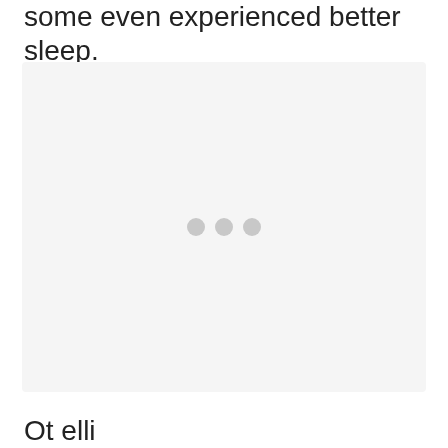some even experienced better sleep.
[Figure (other): Loading placeholder with three grey dots on a light grey background, indicating an image or content is loading.]
Ot elli...